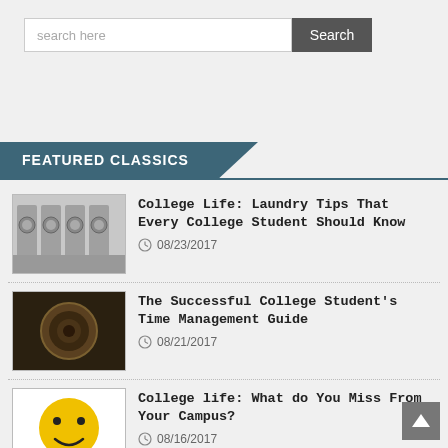search here
FEATURED CLASSICS
[Figure (photo): Laundry machines in a laundromat, black and white photo]
College Life: Laundry Tips That Every College Student Should Know
08/23/2017
[Figure (photo): Dark photo of a round object resembling a gear or wheel on a dark background]
The Successful College Student's Time Management Guide
08/21/2017
[Figure (photo): Yellow smiley face emoji/ball on white background]
College life: What do You Miss From Your Campus?
08/16/2017